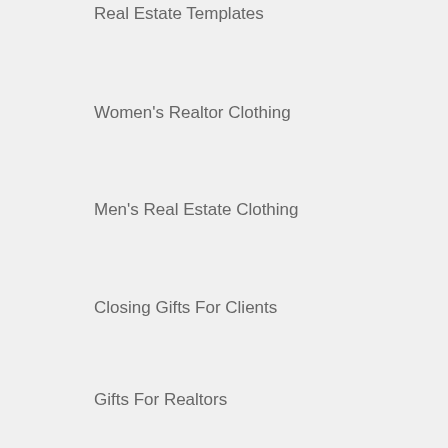Real Estate Templates
Women's Realtor Clothing
Men's Real Estate Clothing
Closing Gifts For Clients
Gifts For Realtors
INFO
Shipping Policy
Refund Policy
Privacy Policy